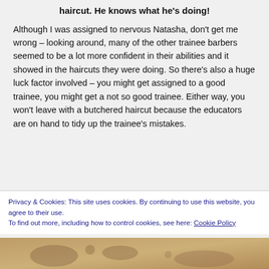haircut. He knows what he's doing!
Although I was assigned to nervous Natasha, don't get me wrong – looking around, many of the other trainee barbers seemed to be a lot more confident in their abilities and it showed in the haircuts they were doing. So there's also a huge luck factor involved – you might get assigned to a good trainee, you might get a not so good trainee. Either way, you won't leave with a butchered haircut because the educators are on hand to tidy up the trainee's mistakes.
Privacy & Cookies: This site uses cookies. By continuing to use this website, you agree to their use.
To find out more, including how to control cookies, see here: Cookie Policy
Close and accept
[Figure (photo): Bottom strip showing a partially visible image, appearing to be a historical or artistic image with warm brown tones and organic patterns]